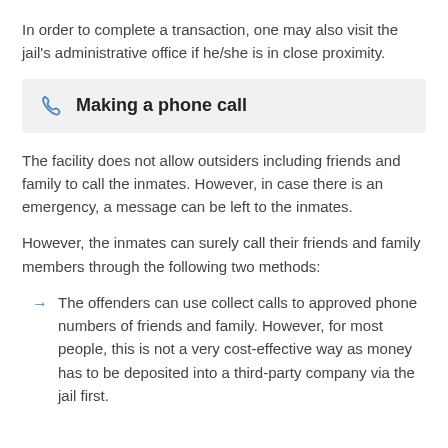In order to complete a transaction, one may also visit the jail's administrative office if he/she is in close proximity.
Making a phone call
The facility does not allow outsiders including friends and family to call the inmates. However, in case there is an emergency, a message can be left to the inmates.
However, the inmates can surely call their friends and family members through the following two methods:
The offenders can use collect calls to approved phone numbers of friends and family. However, for most people, this is not a very cost-effective way as money has to be deposited into a third-party company via the jail first.